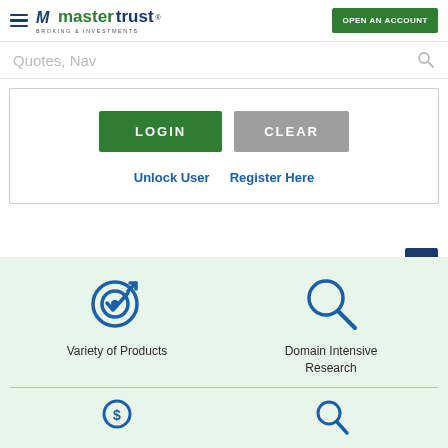[Figure (logo): mastertrust logo with hamburger menu icon on the left and 'OPEN AN ACCOUNT' green button on the right]
Quotes, Nav
[Figure (screenshot): Login form box with LOGIN (green) and CLEAR (grey) buttons, plus Unlock User and Register Here links]
[Figure (infographic): Green background section with target icon labeled 'Variety of Products' and magnifying glass icon labeled 'Domain Intensive Research', with divider and partial bottom icons]